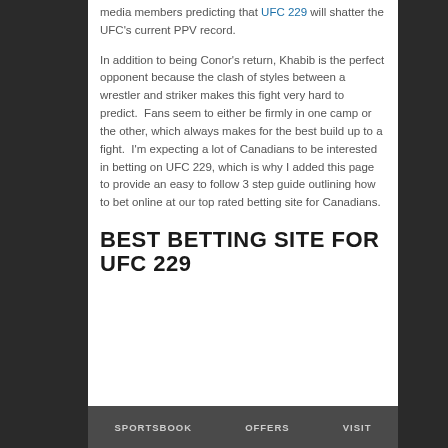media members predicting that UFC 229 will shatter the UFC's current PPV record.
In addition to being Conor's return, Khabib is the perfect opponent because the clash of styles between a wrestler and striker makes this fight very hard to predict.  Fans seem to either be firmly in one camp or the other, which always makes for the best build up to a fight.  I'm expecting a lot of Canadians to be interested in betting on UFC 229, which is why I added this page to provide an easy to follow 3 step guide outlining how to bet online at our top rated betting site for Canadians.
BEST BETTING SITE FOR UFC 229
| SPORTSBOOK | OFFERS | VISIT |
| --- | --- | --- |